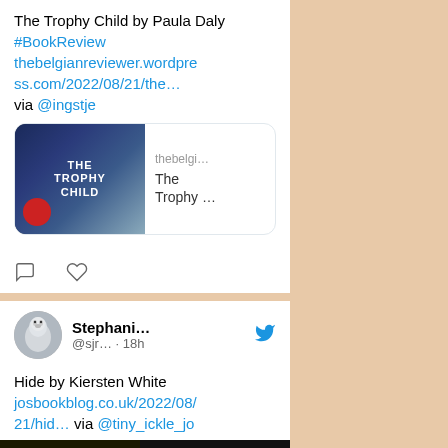The Trophy Child by Paula Daly #BookReview thebelgianreviewer.wordpress.com/2022/08/21/the… via @ingstje
[Figure (screenshot): Link preview card showing The Trophy Child book cover on left and 'thebelgi...' domain with 'The Trophy ...' title on right]
[Figure (screenshot): Tweet action icons: comment bubble and heart/like icon]
[Figure (screenshot): Twitter user avatar showing a white parrot/bird]
Stephani... @sjr... · 18h
Hide by Kiersten White josbookblog.co.uk/2022/08/21/hid… via @tiny_ickle_jo
[Figure (screenshot): Hide book cover image showing yellow/orange design on left and black panel on right with quote: 'I devoured in two sittings having been']